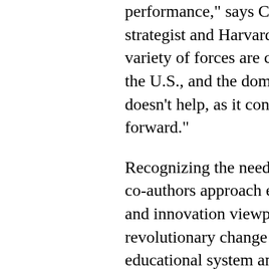performance," says Christensen, a leading strategist and Harvard Business School. A variety of forces are conspiring to challenge the U.S., and the dominant education model doesn't help, as it consistently fails to move forward."

Recognizing the need for a system-wide change, co-authors approach education reform from a business and innovation viewpoint, as they explain why revolutionary change is needed to "disrupt" the educational system and set Americans on a path to achievement. They frame their ideas around the groundbreaking theory of disruptive innovation, originally outlined in his blockbuster book Innovator's Dilemma. The theory explains how industries are overturned and revolutionized by the introduction of a single, new technology offering simplicity, convenience, accessibility